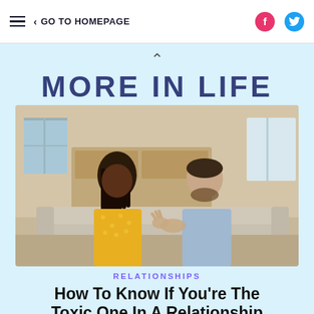≡  < GO TO HOMEPAGE
^
MORE IN LIFE
[Figure (photo): A couple sitting on a couch having an argument. A woman in a yellow polka dot shirt and a man in a light blue shirt facing each other in a tense conversation, in a home interior setting.]
RELATIONSHIPS
How To Know If You're The Toxic One In A Relationship